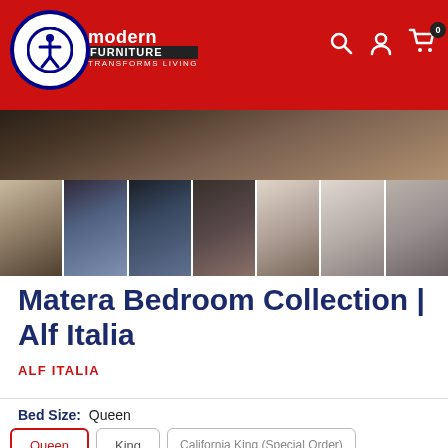Modern Furniture | Matera Bedroom Collection | Alf Italia
[Figure (photo): Thumbnail gallery of bedroom furniture pieces from Matera Collection by Alf Italia]
Matera Bedroom Collection | Alf Italia
ALF ITALIA
Bed Size: Queen
Queen | King | California King (Special Order)